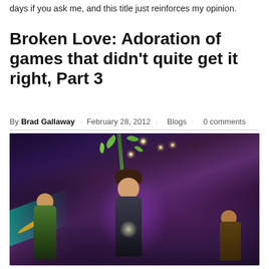days if you ask me, and this title just reinforces my opinion.
Broken Love: Adoration of games that didn't quite get it right, Part 3
By Brad Gallaway  February 28, 2012  Blogs  0 comments
[Figure (photo): Screenshot from a fantasy action game showing three characters in a cave environment with purple magical lighting. A female character in the center holds a glowing object, flanked by creature-like characters. Magical green plant vines with leaves and sparkles are visible in the upper portion of the image.]